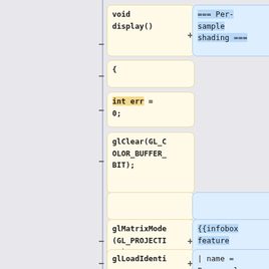[Figure (screenshot): Code diff view showing two columns of code/annotation boxes. Left column contains code snippets in yellow boxes: 'void display()', '{', 'int err = 0;', 'glClear(GL_COLOR_BUFFER_BIT);', (empty), 'glMatrixMode(GL_PROJECTION);', 'glLoadIdenti...'. Right column contains blue annotation boxes: '=== Per-sample shading ===', (empty), (empty), '{{infobox feature', '| name = Per-sample'. Each row has minus/plus symbols on the divider line.]